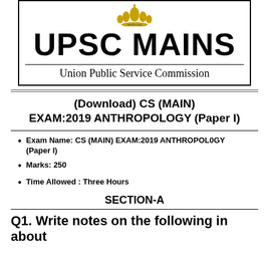[Figure (logo): Ashoka Emblem / UPSC emblem with Sanskrit motto 'Satyameva Jayate' rendered as decorative crown/emblem SVG]
UPSC MAINS
Union Public Service Commission
(Download) CS (MAIN) EXAM:2019 ANTHROPOLOGY (Paper I)
Exam Name: CS (MAIN) EXAM:2019 ANTHROPOL0GY (Paper I)
Marks: 250
Time Allowed : Three Hours
SECTION-A
Q1. Write notes on the following in about